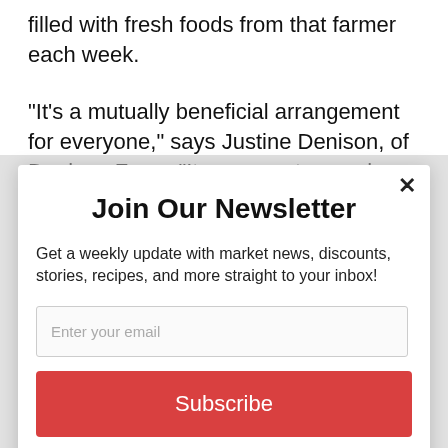filled with fresh foods from that farmer each week.
“It’s a mutually beneficial arrangement for everyone,” says Justine Denison, of Denison Farm. “It reconnects people with the land that
Join Our Newsletter
Get a weekly update with market news, discounts, stories, recipes, and more straight to your inbox!
Enter your email
Subscribe
powered by MailMunch